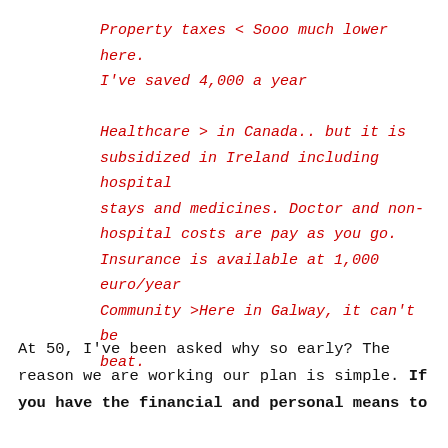Property taxes < Sooo much lower here. I've saved 4,000 a year

Healthcare > in Canada.. but it is subsidized in Ireland including hospital stays and medicines. Doctor and non-hospital costs are pay as you go. Insurance is available at 1,000 euro/year Community >Here in Galway, it can't be beat.
At 50, I've been asked why so early? The reason we are working our plan is simple. If you have the financial and personal means to